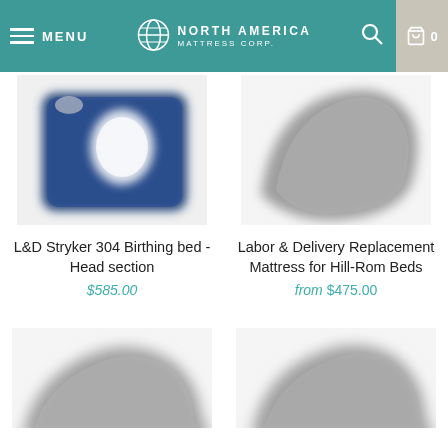MENU | NORTH AMERICA MATTRESS CORP. | [search] [cart 0]
[Figure (photo): Blue medical mattress (L&D Stryker 304 Birthing bed head section) with white label on top]
L&D Stryker 304 Birthing bed - Head section
$585.00
[Figure (photo): Gray upholstered medical mattress for Labor & Delivery, Hill-Rom Beds]
Labor & Delivery Replacement Mattress for Hill-Rom Beds
from $475.00
[Figure (photo): Partial gray mattress image at bottom-left, cropped]
[Figure (photo): Partial gray mattress image at bottom-right, cropped]